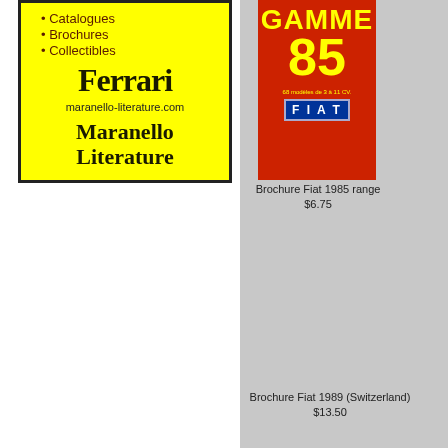[Figure (illustration): Maranello Literature advertisement on yellow background showing Ferrari text, website URL, and company name]
[Figure (photo): Fiat Gamme 85 brochure cover in red with yellow text showing '85 modèles de 3 à 11 CV' and Fiat logo]
Brochure Fiat 1985 range
$6.75
Brochure Fiat 1989 (Switzerland)
$13.50